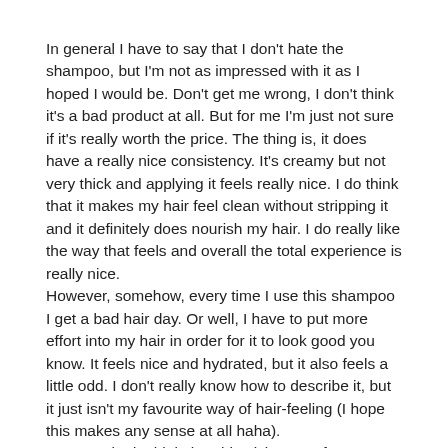In general I have to say that I don't hate the shampoo, but I'm not as impressed with it as I hoped I would be. Don't get me wrong, I don't think it's a bad product at all. But for me I'm just not sure if it's really worth the price. The thing is, it does have a really nice consistency. It's creamy but not very thick and applying it feels really nice. I do think that it makes my hair feel clean without stripping it and it definitely does nourish my hair. I do really like the way that feels and overall the total experience is really nice.
However, somehow, every time I use this shampoo I get a bad hair day. Or well, I have to put more effort into my hair in order for it to look good you know. It feels nice and hydrated, but it also feels a little odd. I don't really know how to describe it, but it just isn't my favourite way of hair-feeling (I hope this makes any sense at all haha).
In general I do think that this Living Proof Restore Shampoo is a pretty good product if you really need the restoring benefits from it. I wouldn't recommend using it if your hair isn't damaged or dry because...